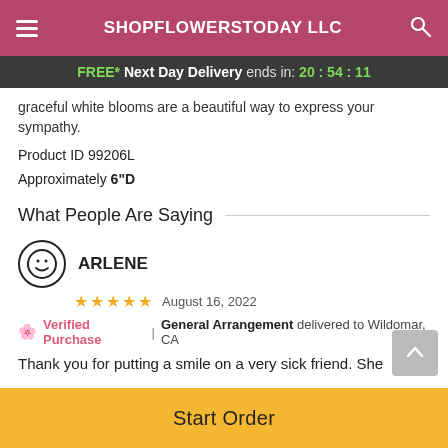SHOPFLOWERSTODAY LLC
FREE* Next Day Delivery ends in: 20:54:11
graceful white blooms are a beautiful way to express your sympathy.
Product ID 99206L
Approximately 6"D
What People Are Saying
ARLENE
★★★★★ August 16, 2022
Verified Purchase | General Arrangement delivered to Wildomar, CA
Thank you for putting a smile on a very sick friend. She
Start Order